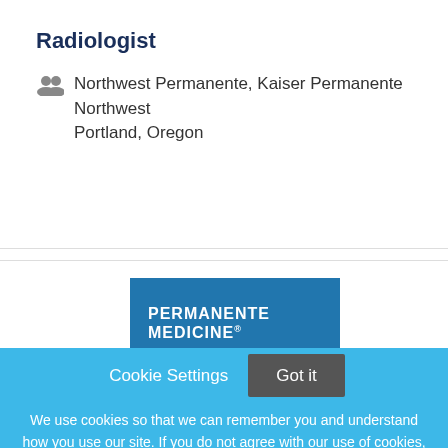Radiologist
Northwest Permanente, Kaiser Permanente Northwest
Portland, Oregon
[Figure (logo): Permanente Medicine logo on blue background with partial text below]
Cookie Settings   Got it
We use cookies so that we can remember you and understand how you use our site. If you do not agree with our use of cookies, please change the current settings found in our Cookie Policy. Otherwise, you agree to the use of the cookies as they are currently set.